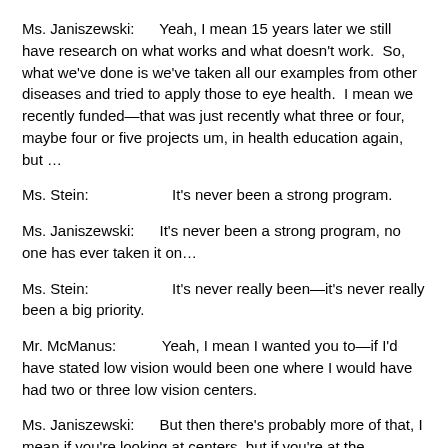Ms. Janiszewski:      Yeah, I mean 15 years later we still have research on what works and what doesn't work.  So, what we've done is we've taken all our examples from other diseases and tried to apply those to eye health.  I mean we recently funded—that was just recently what three or four, maybe four or five projects um, in health education again, but …
Ms. Stein:                     It's never been a strong program.
Ms. Janiszewski:      It's never been a strong program, no one has ever taken it on…
Ms. Stein:                     It's never really been—it's never really been a big priority.
Mr. McManus:          Yeah, I mean I wanted you to—if I'd have stated low vision would been one where I would have had two or three low vision centers.
Ms. Janiszewski:      But then there's probably more of that, I mean if you're looking at centers, but if you're at the research of what works and what doesn't work, there's